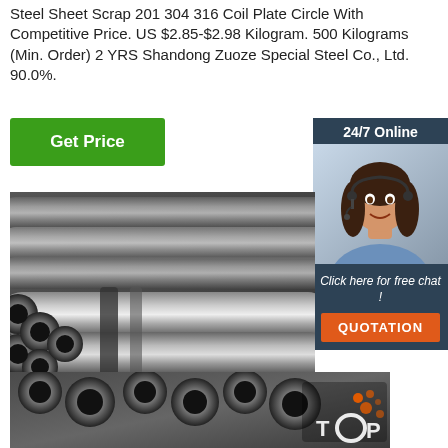Steel Sheet Scrap 201 304 316 Coil Plate Circle With Competitive Price. US $2.85-$2.98 Kilogram. 500 Kilograms (Min. Order) 2 YRS Shandong Zuoze Special Steel Co., Ltd. 90.0%.
Get Price
24/7 Online
[Figure (photo): Woman with headset smiling, customer service representative photo]
Click here for free chat !
QUOTATION
[Figure (photo): Bundle of steel seamless pipes/tubes stacked together, industrial steel products]